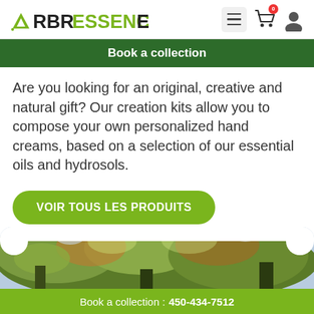ARBRESSENCE — navigation header with menu, cart (0), and user icons
Book a collection
Are you looking for an original, creative and natural gift? Our creation kits allow you to compose your own personalized hand creams, based on a selection of our essential oils and hydrosols.
VOIR TOUS LES PRODUITS
[Figure (photo): Tree canopy with autumn foliage, green and orange leaves against sky, rounded top border]
Book a collection : 450-434-7512